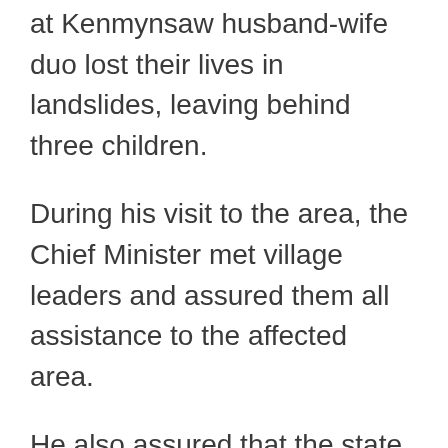at Kenmynsaw husband-wife duo lost their lives in landslides, leaving behind three children.
During his visit to the area, the Chief Minister met village leaders and assured them all assistance to the affected area.
He also assured that the state government is working to ensure that electricity and mobile connectivity are restored in the affected areas.
On Sunday, Sangma, along with Home Minister Lahkmen Rymbui, visited and took stock of the damages after a landslide on NH 6 at Lumshnong in East